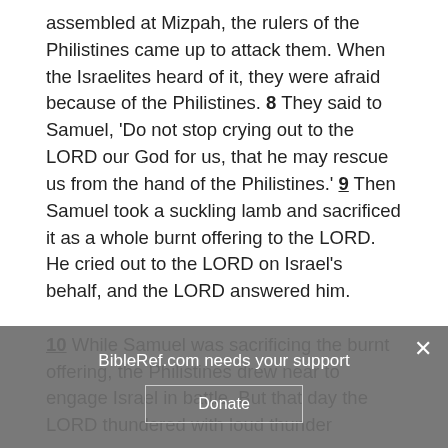assembled at Mizpah, the rulers of the Philistines came up to attack them. When the Israelites heard of it, they were afraid because of the Philistines. 8 They said to Samuel, 'Do not stop crying out to the LORD our God for us, that he may rescue us from the hand of the Philistines.' 9 Then Samuel took a suckling lamb and sacrificed it as a whole burnt offering to the LORD. He cried out to the LORD on Israel's behalf, and the LORD answered him. 10 While Samuel was sacrificing the burnt offering, the Philistines drew near to engage Israel in battle. But that day the LORD thundered with loud thunder
BibleRef.com needs your support
Donate